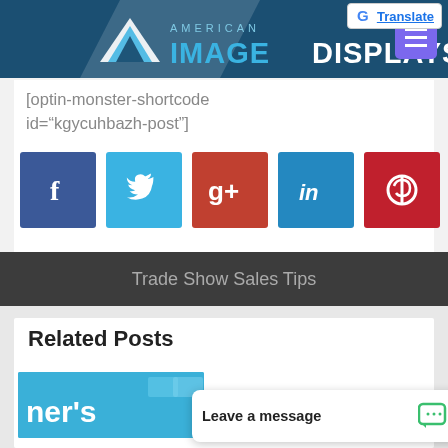[Figure (logo): American Image Displays logo with triangular blue chevron and text, on a dark blue header bar]
[Figure (screenshot): Google Translate button in top right corner]
[optin-monster-shortcode id="kgycuhbazh-post"]
[Figure (infographic): Row of five social media icon buttons: Facebook (blue), Twitter (light blue), Google+ (red), LinkedIn (blue), Pinterest (red)]
Trade Show Sales Tips
Related Posts
[Figure (photo): Related post thumbnail showing partial text 'ner's' on teal background with envelope icons]
[Figure (screenshot): Leave a message chat widget popup with chat icon]